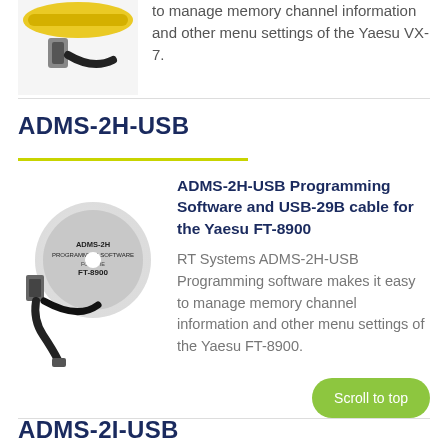[Figure (photo): Partial image of a USB programming cable (cut off at top of page)]
to manage memory channel information and other menu settings of the Yaesu VX-7.
ADMS-2H-USB
[Figure (photo): ADMS-2H Programming Software disc and USB-29B cable for the Yaesu FT-8900]
ADMS-2H-USB Programming Software and USB-29B cable for the Yaesu FT-8900
RT Systems ADMS-2H-USB Programming software makes it easy to manage memory channel information and other menu settings of the Yaesu FT-8900.
ADMS-2I-USB